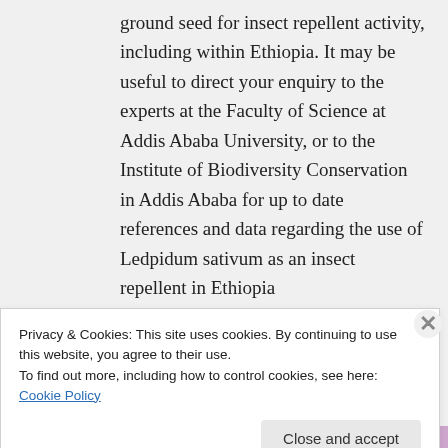ground seed for insect repellent activity, including within Ethiopia. It may be useful to direct your enquiry to the experts at the Faculty of Science at Addis Ababa University, or to the Institute of Biodiversity Conservation in Addis Ababa for up to date references and data regarding the use of Ledpidum sativum as an insect repellent in Ethiopia
↳ Reply
Privacy & Cookies: This site uses cookies. By continuing to use this website, you agree to their use.
To find out more, including how to control cookies, see here: Cookie Policy
Close and accept